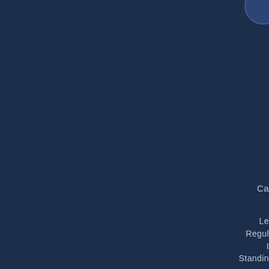[Figure (illustration): Dark navy blue cover page background with a circular logo/seal in the upper right corner]
Ca
Le
Regul
I
Standin
M
Kentucky